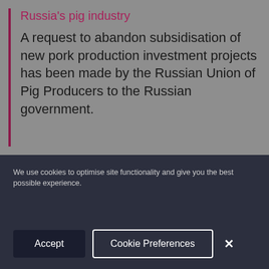Russia's pig industry
A request to abandon subsidisation of new pork production investment projects has been made by the Russian Union of Pig Producers to the Russian government.
Implementation time
Should the WTO indeed follow the OIE recommendations, then there's still a long way to
We use cookies to optimise site functionality and give you the best possible experience.
Accept
Cookie Preferences
×